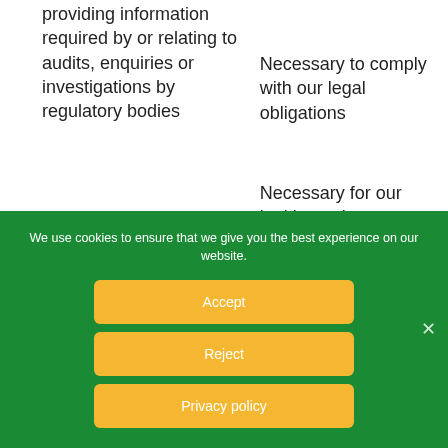providing information required by or relating to audits, enquiries or investigations by regulatory bodies
Necessary to comply with our legal obligations
Necessary for our legitimate interests
We use cookies to ensure that we give you the best experience on our website.
Accept
Reject
Privacy policy